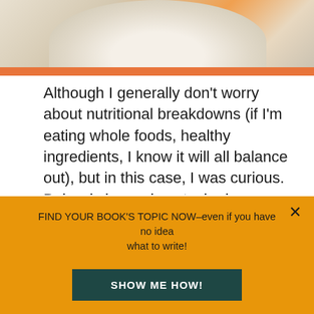[Figure (photo): Partial photo of food (likely rice cake or oatmeal) on a plate with orange rim and beige knit fabric background, cropped at top]
Although I generally don't worry about nutritional breakdowns (if I'm eating whole foods, healthy ingredients, I know it will all balance out), but in this case, I was curious. Below is how mine stacked up against theirs (note that there was no choice of “coconut sugar” on the Nutrition Data page, where I calculated these figures.  As a result, I used “brown sugar” for both recipes, which means that my version is actually even
FIND YOUR BOOK’S TOPIC NOW–even if you have no idea what to write!
SHOW ME HOW!